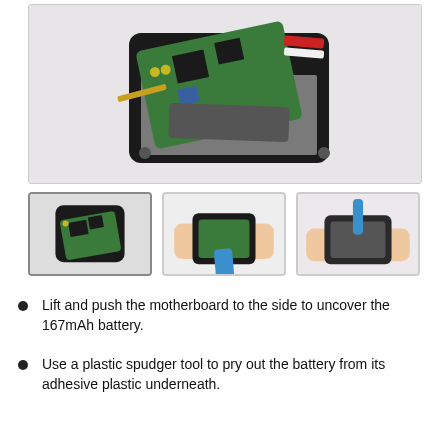[Figure (photo): Disassembled electronic device showing motherboard lifted to the side, revealing internal components inside a black casing, on a white background.]
[Figure (photo): Thumbnail 1: Circuit board partially removed from black device casing.]
[Figure (photo): Thumbnail 2: Hands using a blue spudger tool to pry the battery from the device.]
[Figure (photo): Thumbnail 3: Hands holding open device while blue spudger inserts into the casing.]
Lift and push the motherboard to the side to uncover the 167mAh battery.
Use a plastic spudger tool to pry out the battery from its adhesive plastic underneath.